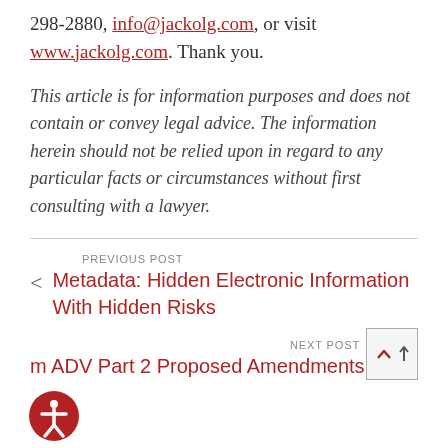298-2880, info@jackolg.com, or visit www.jackolg.com. Thank you.
This article is for information purposes and does not contain or convey legal advice. The information herein should not be relied upon in regard to any particular facts or circumstances without first consulting with a lawyer.
PREVIOUS POST
Metadata: Hidden Electronic Information With Hidden Risks
NEXT POST
m ADV Part 2 Proposed Amendments